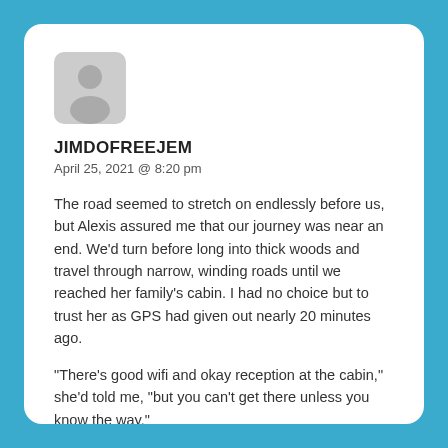[Figure (illustration): Default user avatar icon — a grey silhouette of a person in a rounded square shape]
JIMDOFREEJEM
April 25, 2021 @ 8:20 pm
The road seemed to stretch on endlessly before us, but Alexis assured me that our journey was near an end. We’d turn before long into thick woods and travel through narrow, winding roads until we reached her family’s cabin. I had no choice but to trust her as GPS had given out nearly 20 minutes ago.
“There’s good wifi and okay reception at the cabin,” she’d told me, “but you can’t get there unless you know the way.”
https://rentry.co/5usc9
So here I was, driving alone in the middle of god knows where with a girl who was my student just a